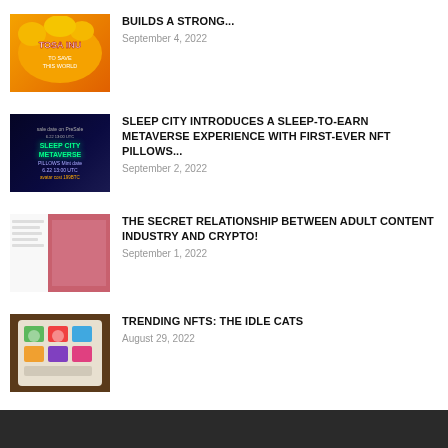[Figure (photo): Tosa Inu cartoon logo thumbnail - orange background with cartoon dog]
BUILDS A STRONG...
September 4, 2022
[Figure (photo): Sleep City Metaverse promotional image - dark background with green text]
SLEEP CITY INTRODUCES A SLEEP-TO-EARN METAVERSE EXPERIENCE WITH FIRST-EVER NFT PILLOWS...
September 2, 2022
[Figure (photo): Adult content and crypto article thumbnail]
THE SECRET RELATIONSHIP BETWEEN ADULT CONTENT INDUSTRY AND CRYPTO!
September 1, 2022
[Figure (photo): Idle Cats NFT mobile app screenshot with colorful tiles]
TRENDING NFTS: THE IDLE CATS
August 29, 2022